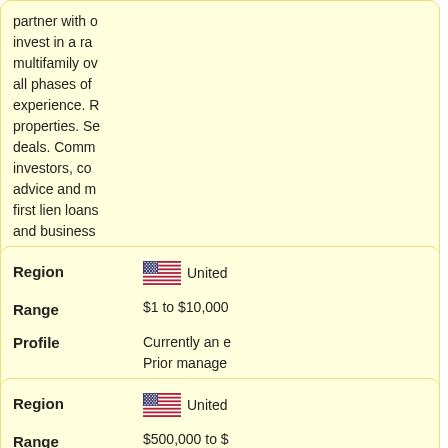partner with c... invest in a ra... multifamily ov... all phases of... experience. R... properties. Se... deals. Comm... investors, co... advice and m... first lien loans... and business... Upfront fee n...
| Field | Value |
| --- | --- |
| Region | United States |
| Range | $1 to $10,000,000+ |
| Profile | Currently an e... Prior manage... ecommerce,... Angel Netwo... California. Cu... ecommerce c... |
| Field | Value |
| --- | --- |
| Region | United States |
| Range | $500,000 to $... |
| Profile | My name is... |